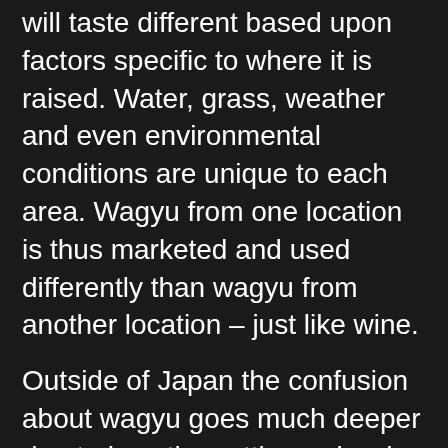will taste different based upon factors specific to where it is raised. Water, grass, weather and even environmental conditions are unique to each area. Wagyu from one location is thus marketed and used differently than wagyu from another location – just like wine.
Outside of Japan the confusion about wagyu goes much deeper due to how the cattle are bred:
Full Blood Wagyu (It's Wagyu) – This is the real wagyu – beef raised from certified 100% Japanese bloodlines. Think of it like race horses: breeding matters. The results you get from full blood wagyu is higher